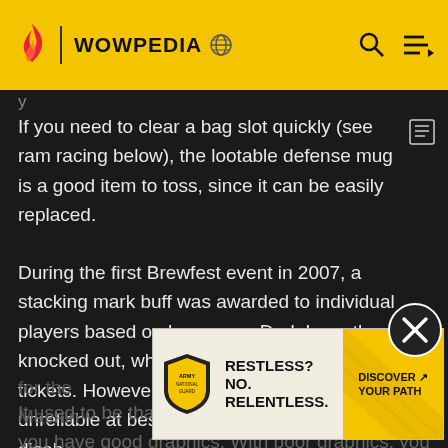WOWPEDIA
If you need to clear a bag slot quickly (see ram racing below), the lootable defense mug is a good item to toss, since it can be easily replaced.
During the first Brewfest event in 2007, a stacking mark buff was awarded to individual players based on how many Dark Irons they had knocked out, which could then be turned into tickets. However, this system was chaotic and unreliable at best, and the attacks had to be disabled for the Portable Brewfest Machine...
[Figure (infographic): Army National Guard advertisement: RESTLESS? NO. RELENTLESS. DISCOVER YOUR PATH]
It used to be that the event was harder to do if you have good graphics. With poor graphics, you did not get the full